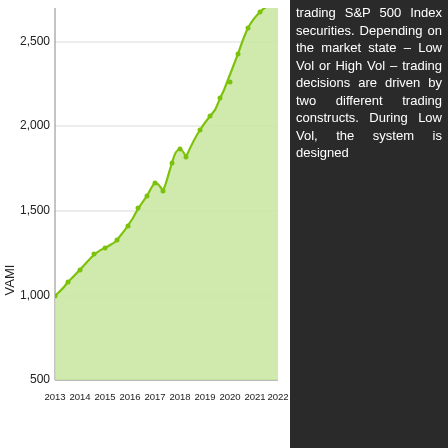[Figure (continuous-plot): Area chart showing VAMI growth from approximately 1,000 in 2013 to approximately 2,600+ in 2022. The line trends upward with moderate fluctuations. Y-axis labels: 500, 1,000, 1,500, 2,000, 2,500. X-axis labels: 2013, 2014, 2015, 2016, 2017, 2018, 2019, 2020, 2021, 2022.]
trading S&P 500 Index securities. Depending on the market state – Low Vol or High Vol – trading decisions are driven by two different trading constructs. During Low Vol, the system is designed